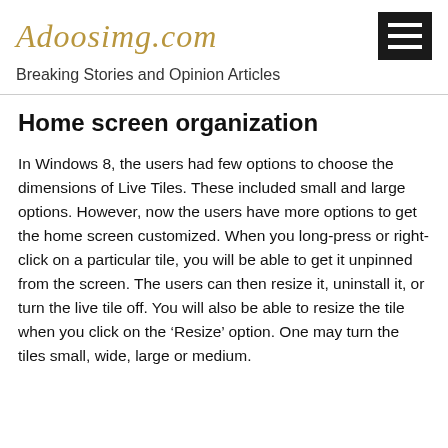Adoosimg.com
Breaking Stories and Opinion Articles
Home screen organization
In Windows 8, the users had few options to choose the dimensions of Live Tiles. These included small and large options. However, now the users have more options to get the home screen customized. When you long-press or right-click on a particular tile, you will be able to get it unpinned from the screen. The users can then resize it, uninstall it, or turn the live tile off. You will also be able to resize the tile when you click on the ‘Resize’ option. One may turn the tiles small, wide, large or medium.